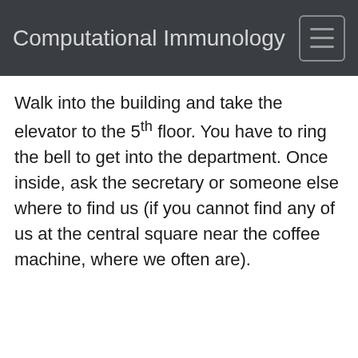Computational Immunology
Walk into the building and take the elevator to the 5th floor. You have to ring the bell to get into the department. Once inside, ask the secretary or someone else where to find us (if you cannot find any of us at the central square near the coffee machine, where we often are).